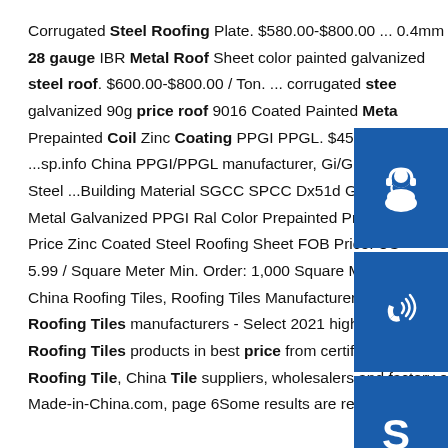Corrugated Steel Roofing Plate. $580.00-$800.00 ... 0.4mm 28 gauge IBR Metal Roof Sheet color painted galvanized steel roof. $600.00-$800.00 / Ton. ... corrugated steel galvanized 90g price roof 9016 Coated Painted Metal Prepainted Coil Zinc Coating PPGI PPGL. $450.00-$850 ...sp.info China PPGI/PPGL manufacturer, Gi/Gl, Cold Steel ...Building Material SGCC SPCC Dx51d Gi Corrugated Metal Galvanized PPGI Ral Color Prepainted Profiled Price Zinc Coated Steel Roofing Sheet FOB Price: US 5.99 / Square Meter Min. Order: 1,000 Square Meterssp.info China Roofing Tiles, Roofing Tiles Manufacturers ...China Roofing Tiles manufacturers - Select 2021 high quality Roofing Tiles products in best price from certified Chinese Roofing Tile, China Tile suppliers, wholesalers and factory on Made-in-China.com, page 6Some results are removed in
[Figure (infographic): Three blue square icons stacked vertically on the right side: headset/customer support icon, phone/call icon, Skype icon]